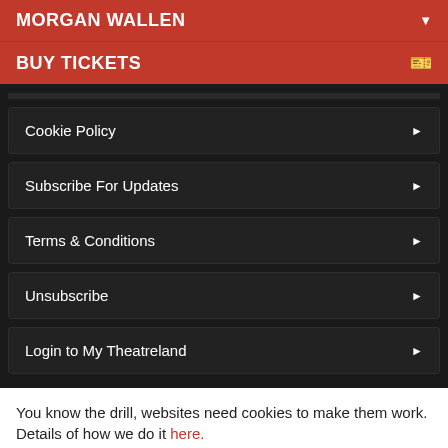MORGAN WALLEN
BUY TICKETS
Cookie Policy
Subscribe For Updates
Terms & Conditions
Unsubscribe
Login to My Theatreland
You know the drill, websites need cookies to make them work. Details of how we do it here.
Got it!